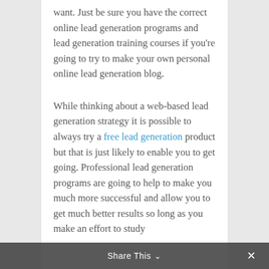want. Just be sure you have the correct online lead generation programs and lead generation training courses if you're going to try to make your own personal online lead generation blog.
While thinking about a web-based lead generation strategy it is possible to always try a free lead generation product but that is just likely to enable you to get going. Professional lead generation programs are going to help to make you much more successful and allow you to get much better results so long as you make an effort to study
Share This ∨  ✕